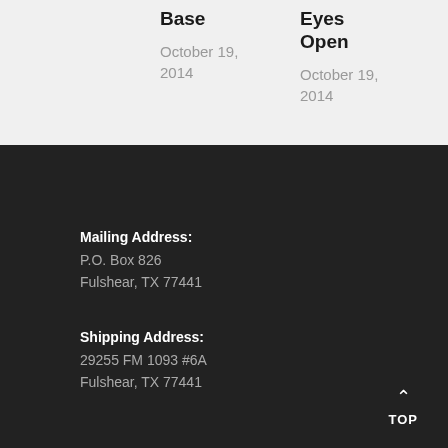Base
October 19, 2014
Eyes Open
October 19, 2014
Mailing Address:
P.O. Box 826
Fulshear, TX 77441
Shipping Address:
29255 FM 1093 #6A
Fulshear, TX 77441
TOP